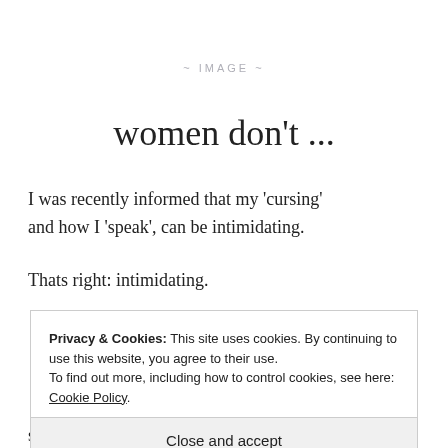[Figure (other): Image placeholder with text '~ IMAGE ~']
women don't ...
I was recently informed that my ‘cursing’ and how I ‘speak’, can be intimidating.
Thats right: intimidating.
Privacy & Cookies: This site uses cookies. By continuing to use this website, you agree to their use. To find out more, including how to control cookies, see here: Cookie Policy
Close and accept
statement